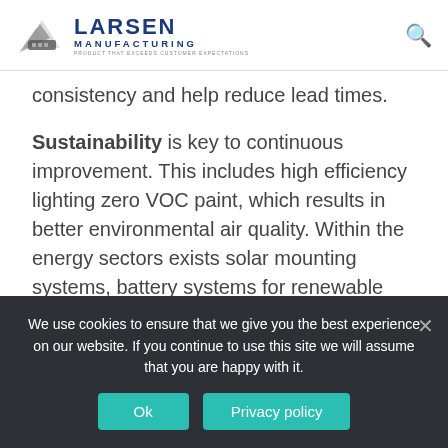Larsen Manufacturing — PRODUCT THAT EXCEEDS CUSTOMER EXPECTATIONS
consistency and help reduce lead times.
Sustainability is key to continuous improvement. This includes high efficiency lighting zero VOC paint, which results in better environmental air quality. Within the energy sectors exists solar mounting systems, battery systems for renewable energy and power supply fixtures.
The... applications in the electronic field...
We use cookies to ensure that we give you the best experience on our website. If you continue to use this site we will assume that you are happy with it.